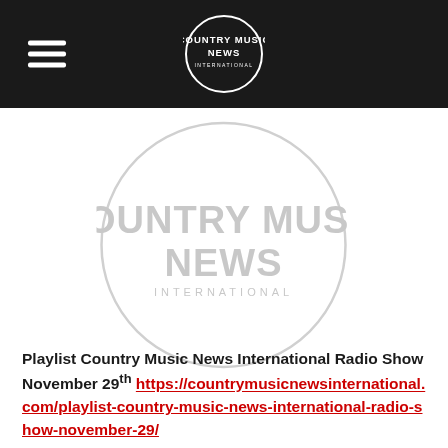COUNTRY MUSIC NEWS INTERNATIONAL
[Figure (logo): Country Music News International logo — large circular logo with text COUNTRY MUSIC NEWS INTERNATIONAL in light grey on white background]
Playlist Country Music News International Radio Show November 29th https://countrymusicnewsinternational.com/playlist-country-music-news-international-radio-show-november-29/